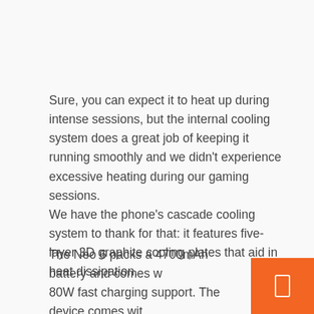Sure, you can expect it to heat up during intense sessions, but the internal cooling system does a great job of keeping it running smoothly and we didn't experience excessive heating during our gaming sessions.
We have the phone's cascade cooling system to thank for that: it features five-layer 3D graphite cooling plates that aid in heat dissipation.
The Neo 6 packs a 4700mAh battery and comes w 80W fast charging support. The device comes wit required charger in the box and you can expect it to